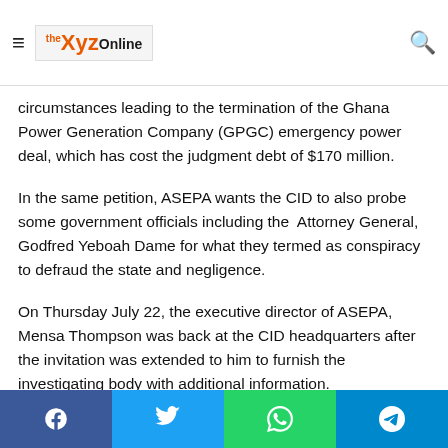XYZ Online logo and navigation header
circumstances leading to the termination of the Ghana Power Generation Company (GPGC) emergency power deal, which has cost the judgment debt of $170 million.
In the same petition, ASEPA wants the CID to also probe some government officials including the Attorney General, Godfred Yeboah Dame for what they termed as conspiracy to defraud the state and negligence.
On Thursday July 22, the executive director of ASEPA, Mensa Thompson was back at the CID headquarters after the invitation was extended to him to furnish the investigating body with additional information.
Social share bar: Facebook, Twitter, WhatsApp, Telegram